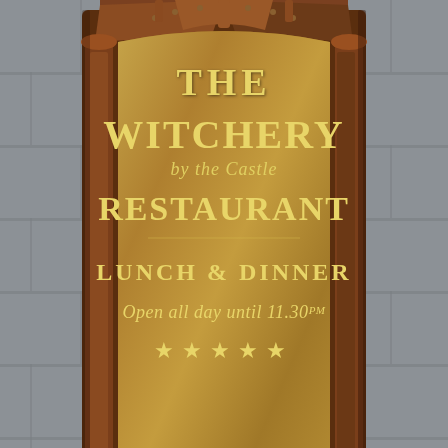[Figure (photo): A wooden ornate sign for 'The Witchery by the Castle Restaurant' mounted on a stone wall. The sign features a dark mahogany carved wooden frame with gothic arch top, columns, and decorative elements. The central panel is a gold/brass-colored plaque with text reading: THE WITCHERY, by the Castle, RESTAURANT, LUNCH & DINNER, Open all day until 11.30pm, and five gold stars.]